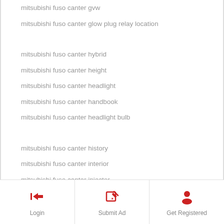mitsubishi fuso canter gvw
mitsubishi fuso canter glow plug relay location
mitsubishi fuso canter hybrid
mitsubishi fuso canter height
mitsubishi fuso canter headlight
mitsubishi fuso canter handbook
mitsubishi fuso canter headlight bulb
mitsubishi fuso canter history
mitsubishi fuso canter interior
mitsubishi fuso canter injector
mitsubishi fuso canter immobilizer
Login | Submit Ad | Get Registered